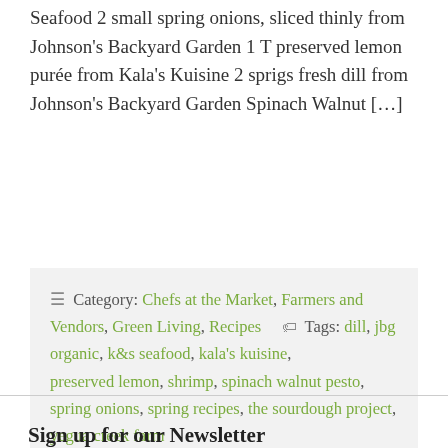Seafood 2 small spring onions, sliced thinly from Johnson's Backyard Garden 1 T preserved lemon purée from Kala's Kuisine 2 sprigs fresh dill from Johnson's Backyard Garden Spinach Walnut […]
Category: Chefs at the Market, Farmers and Vendors, Green Living, Recipes   Tags: dill, jbg organic, k&s seafood, kala's kuisine, preserved lemon, shrimp, spinach walnut pesto, spring onions, spring recipes, the sourdough project, yegua creek farm
Sign up for our Newsletter